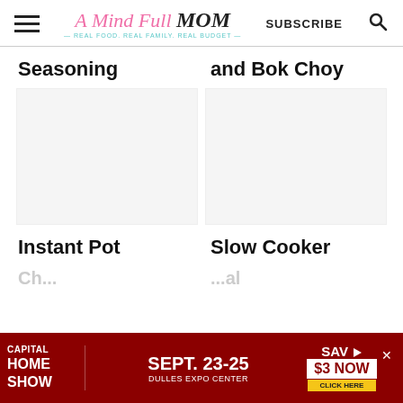A Mind Full Mom — REAL FOOD. REAL FAMILY. REAL BUDGET. | SUBSCRIBE
Seasoning
and Bok Choy
Instant Pot
Slow Cooker
[Figure (infographic): Advertisement banner for Capital Home Show, Sept. 23-25 at Dulles Expo Center, Save $3 Now, Click Here]